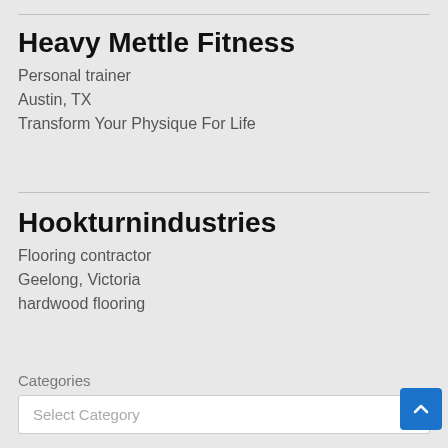Heavy Mettle Fitness
Personal trainer
Austin, TX
Transform Your Physique For Life
Hookturnindustries
Flooring contractor
Geelong, Victoria
hardwood flooring
Categories
Select Category